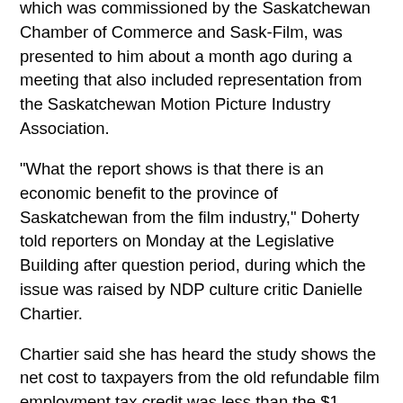which was commissioned by the Saskatchewan Chamber of Commerce and Sask-Film, was presented to him about a month ago during a meeting that also included representation from the Saskatchewan Motion Picture Industry Association.
"What the report shows is that there is an economic benefit to the province of Saskatchewan from the film industry," Doherty told reporters on Monday at the Legislative Building after question period, during which the issue was raised by NDP culture critic Danielle Chartier.
Chartier said she has heard the study shows the net cost to taxpayers from the old refundable film employment tax credit was less than the $1 million per year budgeted by the government for its new, non-refundable replacement.
And that sequence of events raises more than a few questions. For example, would we ever have heard about